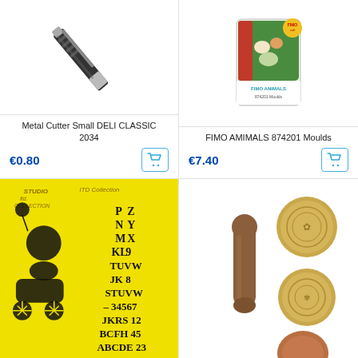[Figure (photo): Metal cutter / craft knife tool with black handle, diagonal orientation]
Metal Cutter Small DELI CLASSIC 2034
€0.80
[Figure (photo): FIMO ANIMALS 874201 Moulds product package with animal figures on green background]
FIMO AMIMALS 874201 Moulds
€7.40
[Figure (photo): Yellow stencil sheet with Studio ITD Collection branding, showing alphabet letters and numbers with silhouette of child with balloon and pram]
[Figure (photo): Wooden handle stamp tool with brass seal medallion discs, wax seal set]